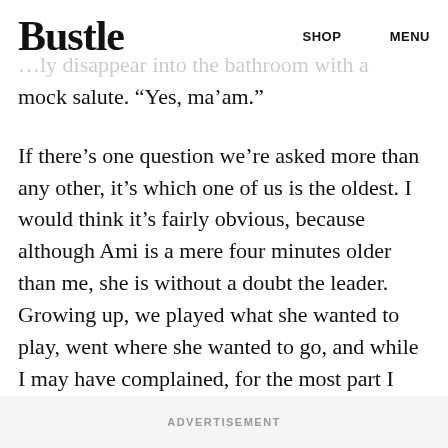Bustle  SHOP  MENU
…ly disappear into the bathroom with a mock salute. “Yes, ma’am.”
If there’s one question we’re asked more than any other, it’s which one of us is the oldest. I would think it’s fairly obvious, because although Ami is a mere four minutes older than me, she is without a doubt the leader. Growing up, we played what she wanted to play, went where she wanted to go, and while I may have complained, for the most part I happily followed. She can talk me into almost anything.
ADVERTISEMENT